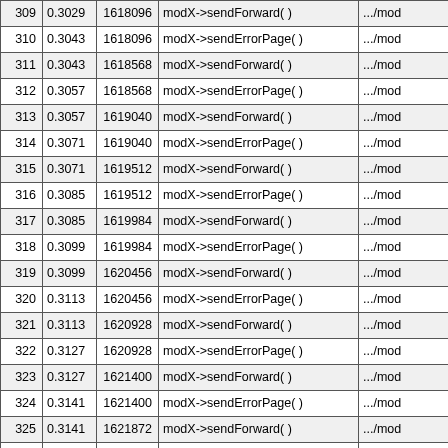|  |  |  |  |  |
| --- | --- | --- | --- | --- |
| 309 | 0.3029 | 1618096 | modX->sendForward( ) | .../mod |
| 310 | 0.3043 | 1618096 | modX->sendErrorPage( ) | .../mod |
| 311 | 0.3043 | 1618568 | modX->sendForward( ) | .../mod |
| 312 | 0.3057 | 1618568 | modX->sendErrorPage( ) | .../mod |
| 313 | 0.3057 | 1619040 | modX->sendForward( ) | .../mod |
| 314 | 0.3071 | 1619040 | modX->sendErrorPage( ) | .../mod |
| 315 | 0.3071 | 1619512 | modX->sendForward( ) | .../mod |
| 316 | 0.3085 | 1619512 | modX->sendErrorPage( ) | .../mod |
| 317 | 0.3085 | 1619984 | modX->sendForward( ) | .../mod |
| 318 | 0.3099 | 1619984 | modX->sendErrorPage( ) | .../mod |
| 319 | 0.3099 | 1620456 | modX->sendForward( ) | .../mod |
| 320 | 0.3113 | 1620456 | modX->sendErrorPage( ) | .../mod |
| 321 | 0.3113 | 1620928 | modX->sendForward( ) | .../mod |
| 322 | 0.3127 | 1620928 | modX->sendErrorPage( ) | .../mod |
| 323 | 0.3127 | 1621400 | modX->sendForward( ) | .../mod |
| 324 | 0.3141 | 1621400 | modX->sendErrorPage( ) | .../mod |
| 325 | 0.3141 | 1621872 | modX->sendForward( ) | .../mod |
| 326 | 0.3155 | 1621872 | modX->sendErrorPage( ) | .../mod |
| 327 | 0.3156 | 1622344 | modX->sendForward( ) | .../mod |
| 328 | 0.3170 | 1622344 | modX->sendErrorPage( ) | .../mod |